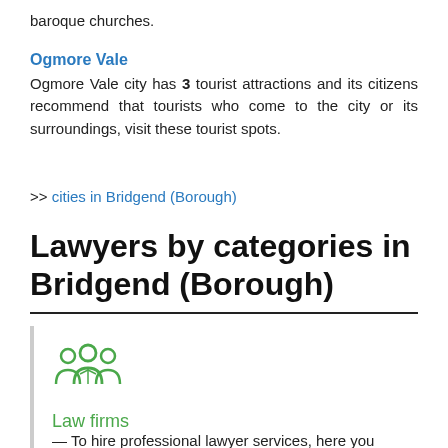baroque churches.
Ogmore Vale
Ogmore Vale city has 3 tourist attractions and its citizens recommend that tourists who come to the city or its surroundings, visit these tourist spots.
>> cities in Bridgend (Borough)
Lawyers by categories in Bridgend (Borough)
[Figure (illustration): Icon of a group of people (law firms icon) in green outline style]
Law firms
— To hire professional lawyer services, here you